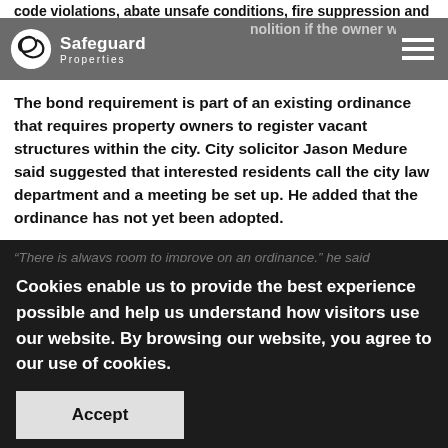code violations, abate unsafe conditions, fire suppression and demolition if the owner walks away
Safeguard Properties
The bond requirement is part of an existing ordinance that requires property owners to register vacant structures within the city. City solicitor Jason Medure said suggested that interested residents call the city law department and a meeting be set up. He added that the ordinance has not yet been adopted.
"There is always room to improve on an ordinance," he said
Cookies enable us to provide the best experience possible and help us understand how visitors use our website. By browsing our website, you agree to our use of cookies.
Accept
that this law will have a chilling effect on